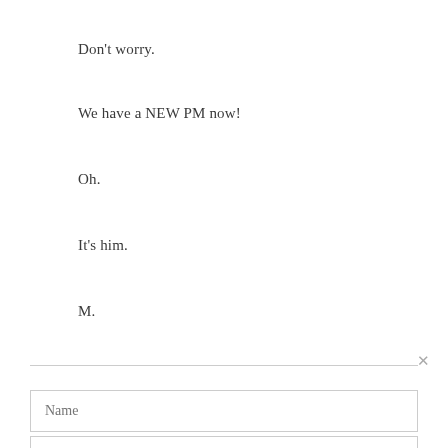Don't worry.
We have a NEW PM now!
Oh.
It's him.
M.